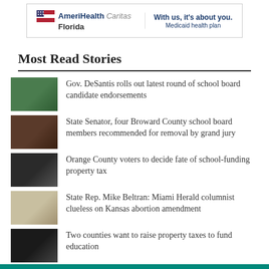[Figure (logo): AmeriHealth Caritas Florida Medicaid health plan advertisement banner with logo and tagline 'With us, it's about you. Medicaid health plan']
Most Read Stories
Gov. DeSantis rolls out latest round of school board candidate endorsements
State Senator, four Broward County school board members recommended for removal by grand jury
Orange County voters to decide fate of school-funding property tax
State Rep. Mike Beltran: Miami Herald columnist clueless on Kansas abortion amendment
Two counties want to raise property taxes to fund education